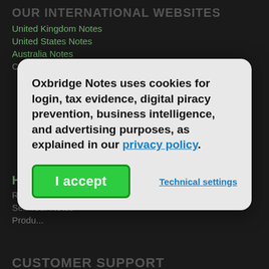OUR INTERNATIONAL WEBSITES
United Kingdom Notes
United States Notes
Australia Notes
Canada Notes
Oxbridge Notes uses cookies for login, tax evidence, digital piracy prevention, business intelligence, and advertising purposes, as explained in our privacy policy.
HELPFUL LINKS
Reset Password
Sell Your Notes
Product...
CUSTOMER SUPPORT
Sellers FAQ
Contact Us